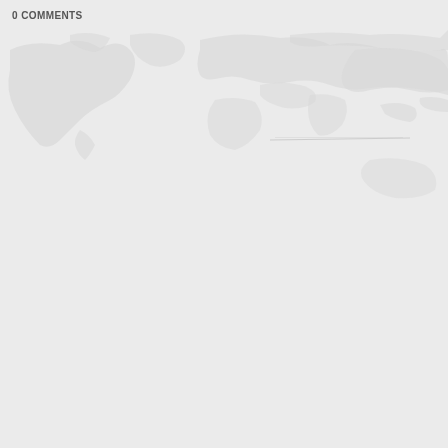0 COMMENTS
[Figure (map): A faint, light gray world map rendering showing landmasses, particularly visible in the upper portion of the image. The map is very lightly shaded in gray tones against a light gray background. A faint horizontal text/line element is visible in the middle-right area of the map.]